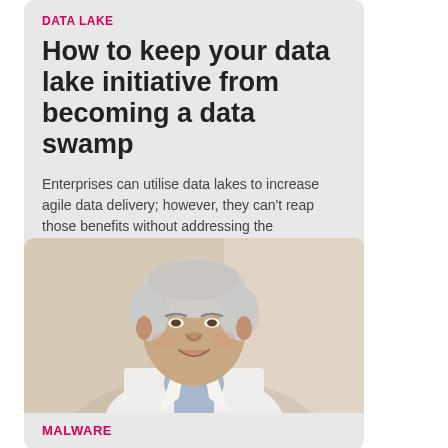DATA LAKE
How to keep your data lake initiative from becoming a data swamp
Enterprises can utilise data lakes to increase agile data delivery; however, they can't reap those benefits without addressing the challenges.
[Figure (photo): Portrait photo of a middle-aged man with grey-white hair, wearing a white blazer and light blue shirt, smiling, against a light beige wall background]
MALWARE